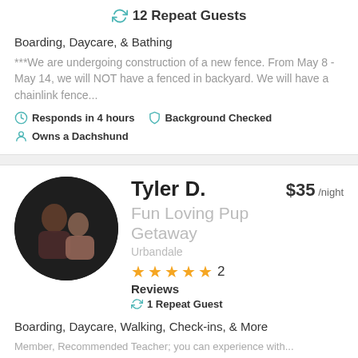12 Repeat Guests
Boarding, Daycare, & Bathing
***We are undergoing construction of a new fence. From May 8 - May 14, we will NOT have a fenced in backyard. We will have a chainlink fence...
Responds in 4 hours   Background Checked   Owns a Dachshund
Tyler D.   $35 /night   Fun Loving Pup Getaway   Urbandale   2 Reviews   1 Repeat Guest
Boarding, Daycare, Walking, Check-ins, & More